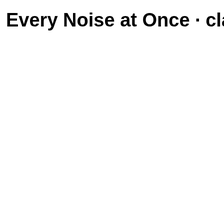Every Noise at Once · classical he